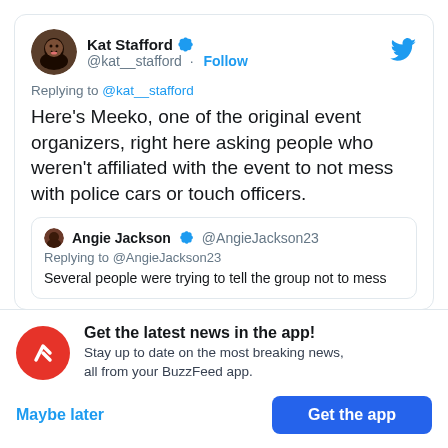Kat Stafford @kat__stafford · Follow
Replying to @kat__stafford
Here's Meeko, one of the original event organizers, right here asking people who weren't affiliated with the event to not mess with police cars or touch officers.
Angie Jackson @AngieJackson23 Replying to @AngieJackson23 Several people were trying to tell the group not to mess
Get the latest news in the app! Stay up to date on the most breaking news, all from your BuzzFeed app.
Maybe later
Get the app